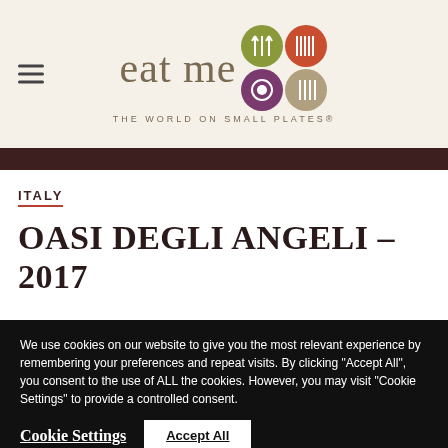eat me — THE WORLD ON SMALL PLATES®
ITALY
OASI DEGLI ANGELI – 2017
We use cookies on our website to give you the most relevant experience by remembering your preferences and repeat visits. By clicking "Accept All", you consent to the use of ALL the cookies. However, you may visit "Cookie Settings" to provide a controlled consent.
Cookie Settings | Accept All